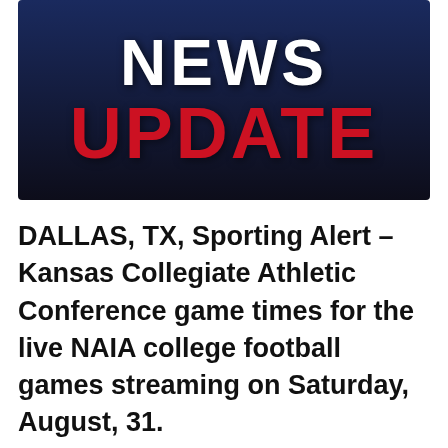[Figure (other): Dark navy blue banner graphic with the word NEWS in white bold letters and UPDATE in red bold letters below it]
DALLAS, TX, Sporting Alert – Kansas Collegiate Athletic Conference game times for the live NAIA college football games streaming on Saturday, August, 31.